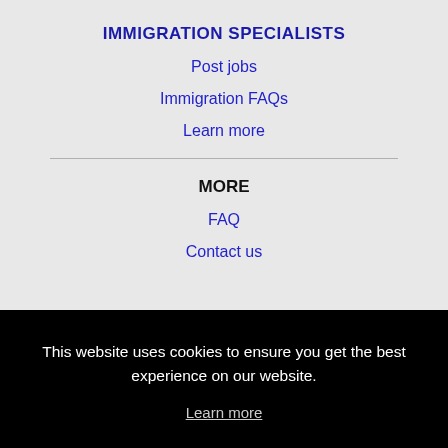IMMIGRATION SPECIALISTS
Post jobs
Immigration FAQs
Learn more
MORE
FAQ
Contact us
This website uses cookies to ensure you get the best experience on our website.
Learn more
Got it!
Lawrence, KS Jobs